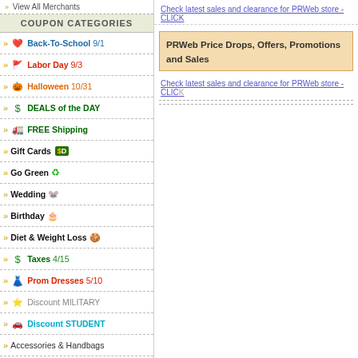View All Merchants
COUPON CATEGORIES
Back-To-School 9/1
Labor Day 9/3
Halloween 10/31
DEALS of the DAY
FREE Shipping
Gift Cards
Go Green
Wedding
Birthday
Diet & Weight Loss
Taxes 4/15
Prom Dresses 5/10
Discount MILITARY
Discount STUDENT
Accessories & Handbags
Apparel - Kids
Apparel - Men
Apparel - Plus-Size
Apparel - Women
Check latest sales and clearance for PRWeb store - CLICK
PRWeb Price Drops, Offers, Promotions and Sales
Check latest sales and clearance for PRWeb store - CLICK